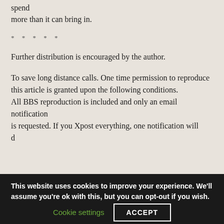spend
more than it can bring in.
* * * * *
Further distribution is encouraged by the author.
To save long distance calls. One time permission to reproduce this article is granted upon the following conditions.
All BBS reproduction is included and only an email notification
is requested. If you Xpost everything, one notification will d
This website uses cookies to improve your experience. We'll assume you're ok with this, but you can opt-out if you wish.
Cookie settings
ACCEPT